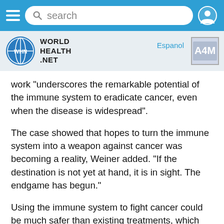search
[Figure (logo): World Health Net logo with WHN globe icon and A4M badge, Espanol link]
work "underscores the remarkable potential of the immune system to eradicate cancer, even when the disease is widespread".
The case showed that hopes to turn the immune system into a weapon against cancer was becoming a reality, Weiner added. "If the destination is not yet at hand, it is in sight. The endgame has begun."
Using the immune system to fight cancer could be much safer than existing treatments, which often have serious side effects.